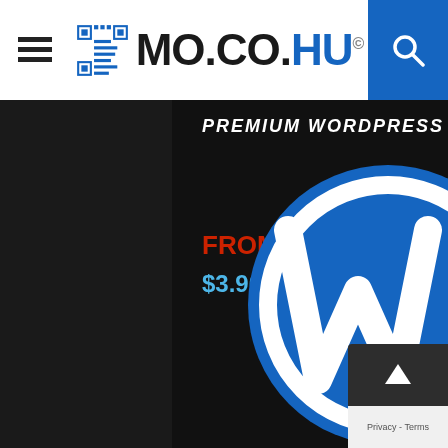MO.CO.HU©
[Figure (screenshot): Premium WordPress Plugins banner ad — dark background with WordPress logo, text: PREMIUM WORDPRESS PLUGINS, FROM, $3.90,-]
POPULAR POSTS
[Figure (photo): Popular posts card area — dark grey card placeholder]
Privacy - Terms